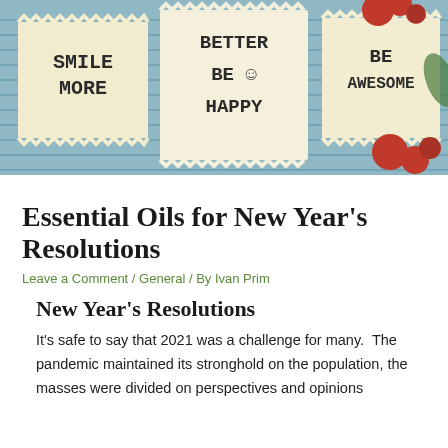[Figure (photo): Photo of handwritten note cards on a blue background with text reading 'SMILE MORE', 'BETTER', 'BE HAPPY', 'BE AWESOME', with red flower decorations]
Essential Oils for New Year’s Resolutions
Leave a Comment / General / By Ivan Prim
New Year’s Resolutions
It’s safe to say that 2021 was a challenge for many.  The pandemic maintained its stronghold on the population, the masses were divided on perspectives and opinions